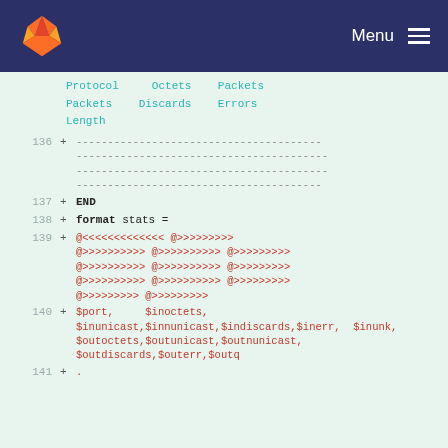GitLab  Menu
Protocol  Octets  Packets
Packets  Discards  Errors
Length
136 + ---...
137 + END
138 + format stats =
139 + @<<<<<<<<<<<<  @>>>>>>>>>
@>>>>>>>>>>  @>>>>>>>>>>  @>>>>>>>>>
@>>>>>>>>>>  @>>>>>>>>>>  @>>>>>>>>>
@>>>>>>>>>>  @>>>>>>>>>>  @>>>>>>>>>
@>>>>>>>>>  @>>>>>>>>>
140 + $port,  $inoctets,
$inunicast,$innunicast,$indiscards,$inerr,  $inunk,
$outoctets,$outunicast,$outnunicast,
$outdiscards,$outerr,$outq
141 + .